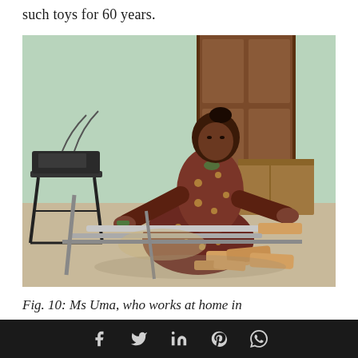such toys for 60 years.
[Figure (photo): A woman in a floral brown and yellow salwar kameez sits cross-legged on the ground outside a house with light green walls, working with woodworking tools and wooden pieces spread before her. A wooden crate and a metal folding table with equipment are visible in the background.]
Fig. 10: Ms Uma, who works at home in Neelasandra to earn some extra money
Social media icons: Facebook, Twitter, LinkedIn, Pinterest, WhatsApp